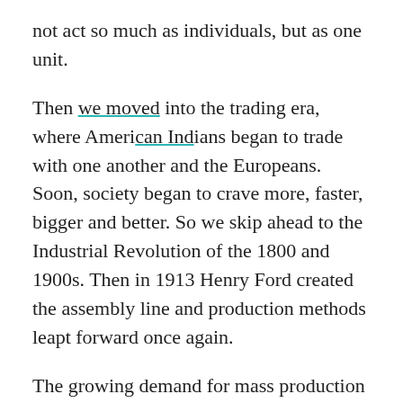not act so much as individuals, but as one unit.
Then we moved into the trading era, where American Indians began to trade with one another and the Europeans. Soon, society began to crave more, faster, bigger and better. So we skip ahead to the Industrial Revolution of the 1800 and 1900s. Then in 1913 Henry Ford created the assembly line and production methods leapt forward once again.
The growing demand for mass production created a dynamic whereby society turned a blind eye to sweat shop labor and slavery. We've seen this evolution time and time again throughout history.
The Fair Trade movement began in Europe in the 1960s, as a movement towards more ethical production methods. In 1989 the World Fair Trade Organization was launched, solidifying a worldwide movement. It became sort of an international